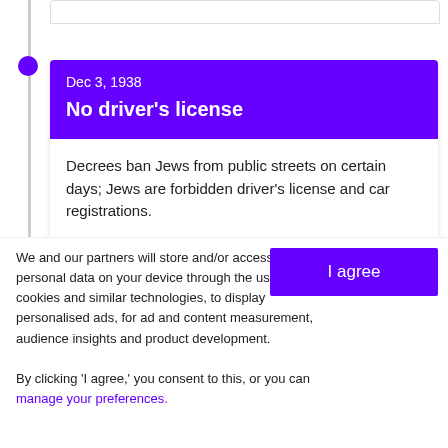Dec 3, 1938
No driver's license
Decrees ban Jews from public streets on certain days; Jews are forbidden driver's license and car registrations.
Dec 3, 1938
Must sell businesses
We and our partners will store and/or access personal data on your device through the use of cookies and similar technologies, to display personalised ads, for ad and content measurement, audience insights and product development.

By clicking 'I agree,' you consent to this, or you can manage your preferences.